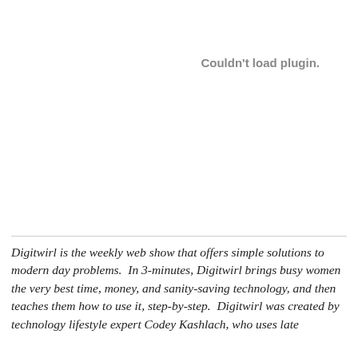[Figure (other): Embedded plugin area showing 'Couldn't load plugin.' message — plugin content failed to render]
Digitwirl is the weekly web show that offers simple solutions to modern day problems. In 3-minutes, Digitwirl brings busy women the very best time, money, and sanity-saving technology, and then teaches them how to use it, step-by-step. Digitwirl was created by technology lifestyle expert Codey Kashlach, who uses late